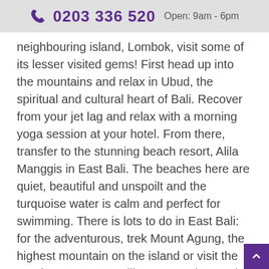📞 0203 336 520  Open: 9am - 6pm
neighbouring island, Lombok, visit some of its lesser visited gems! First head up into the mountains and relax in Ubud, the spiritual and cultural heart of Bali. Recover from your jet lag and relax with a morning yoga session at your hotel. From there, transfer to the stunning beach resort, Alila Manggis in East Bali. The beaches here are quiet, beautiful and unspoilt and the turquoise water is calm and perfect for swimming. There is lots to do in East Bali: for the adventurous, trek Mount Agung, the highest mountain on the island or visit the nearby Tengangan Village. To end your trip transfer by fast boat to Lombok for 5 nights at Jeeva Klui. Enjoy dramatic sunsets from the beachfront o